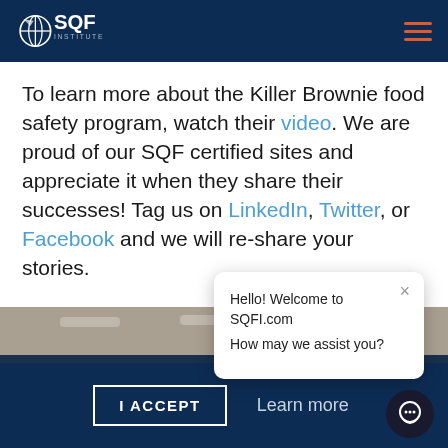SQF Institute
To learn more about the Killer Brownie food safety program, watch their video. We are proud of our SQF certified sites and appreciate it when they share their successes! Tag us on LinkedIn, Twitter, or Facebook and we will re-share your stories.
[Figure (photo): Sepia-toned photo of a food production facility interior with ceiling lights visible]
To comply with some g... letting you know that t... continuing to browse a... use of cookies.
Hello! Welcome to SQFI.com
How may we assist you?
I ACCEPT    Learn more